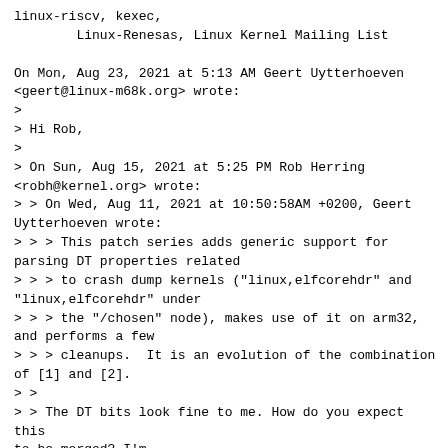linux-riscv, kexec,
        Linux-Renesas, Linux Kernel Mailing List

On Mon, Aug 23, 2021 at 5:13 AM Geert Uytterhoeven
<geert@linux-m68k.org> wrote:
>
> Hi Rob,
>
> On Sun, Aug 15, 2021 at 5:25 PM Rob Herring
<robh@kernel.org> wrote:
> > On Wed, Aug 11, 2021 at 10:50:58AM +0200, Geert
Uytterhoeven wrote:
> > > This patch series adds generic support for
parsing DT properties related
> > > to crash dump kernels ("linux,elfcorehdr" and
"linux,elfcorehdr" under
> > > the "/chosen" node), makes use of it on arm32,
and performs a few
> > > cleanups.  It is an evolution of the combination
of [1] and [2].
> >
> > The DT bits look fine to me. How do you expect this
to be merged? I'm
> > happy to take it if arch maintainers can ack it.
>
> I had hoped you could take the series...

My current thought is I'll take 2-5, 7 and 8 given
that's what I have
acks for and the others can be applied independently.